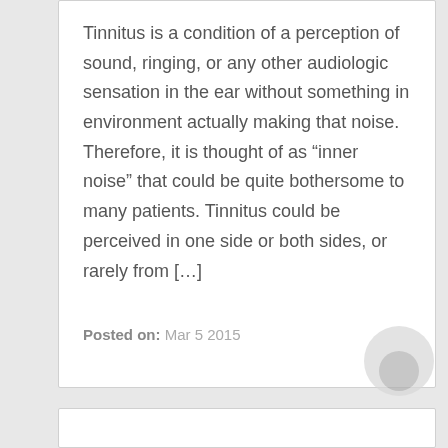Tinnitus is a condition of a perception of sound, ringing, or any other audiologic sensation in the ear without something in environment actually making that noise. Therefore, it is thought of as “inner noise” that could be quite bothersome to many patients. Tinnitus could be perceived in one side or both sides, or rarely from […]
Posted on: Mar 5 2015